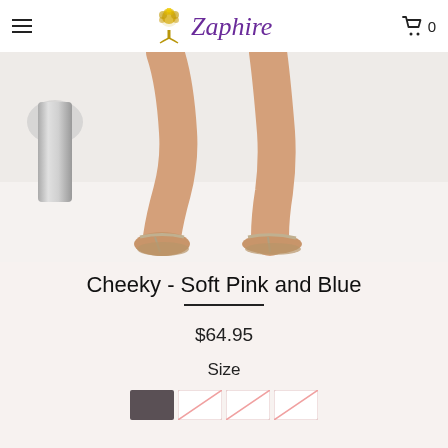Zaphire
[Figure (photo): Close-up photo of a person's legs wearing flat silver/rose gold t-strap sandals, on a light grey/white background with a silver vase partially visible on the left.]
Cheeky - Soft Pink and Blue
$64.95
Size